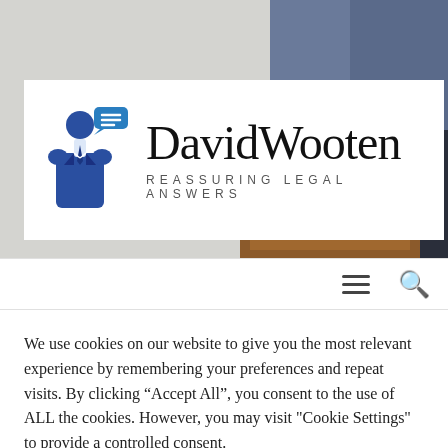[Figure (photo): Hero image showing a businessman in a suit carrying a leather briefcase, photographed from the waist down against a light gray textured background]
[Figure (logo): David Wooten law firm logo: blue icon of a suited person with a speech bubble containing lines, next to bold serif text 'DavidWooten' and spaced subtitle 'REASSURING LEGAL ANSWERS']
We use cookies on our website to give you the most relevant experience by remembering your preferences and repeat visits. By clicking “Accept All”, you consent to the use of ALL the cookies. However, you may visit "Cookie Settings" to provide a controlled consent.
Cookie Settings
Accept All